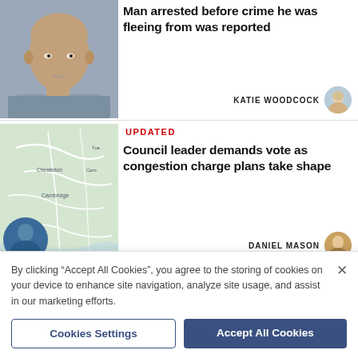[Figure (photo): Mugshot of a bald middle-aged man in a grey shirt against a grey background]
Man arrested before crime he was fleeing from was reported
KATIE WOODCOCK
[Figure (map): Map showing Cambridge area in the UK with surrounding regions]
UPDATED
Council leader demands vote as congestion charge plans take shape
DANIEL MASON
By clicking “Accept All Cookies”, you agree to the storing of cookies on your device to enhance site navigation, analyze site usage, and assist in our marketing efforts.